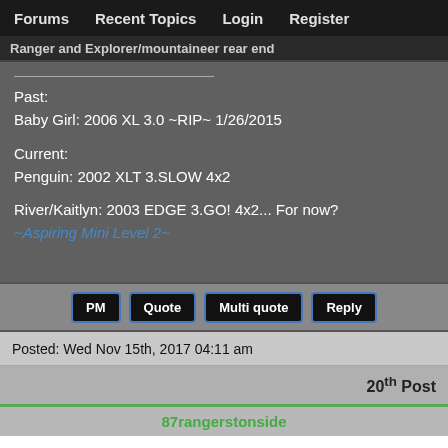Forums   Recent Topics   Login   Register
Ranger and Explorer/mountaineer rear end
Past:
Baby Girl: 2006 XL 3.0 ~RIP~ 1/26/2015

Current:
Penguin: 2002 XLT 3.SLOW 4x2

River/Kaitlyn: 2003 EDGE 3.GO! 4x2... For now?
~Aspiring Mini Level 2~
PM   Quote   Multi quote   Reply
Posted: Wed Nov 15th, 2017 04:11 am
20th Post
87rangerstonside